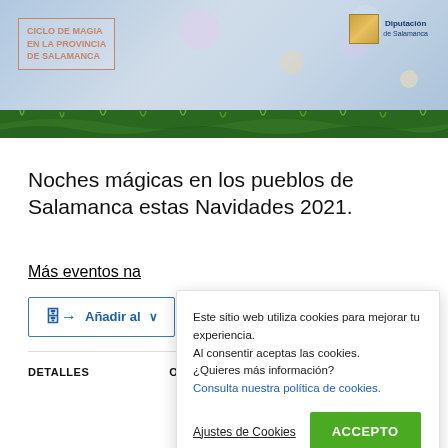[Figure (photo): Banner image for 'Ciclo de Magia en la Provincia de Salamanca' with Christmas/winter theme: snowy background with pine branches, text box on left reading 'CICLO DE MAGIA EN LA PROVINCIA DE SALAMANCA', Diputación de Salamanca logo on right, bokeh light effects.]
Noches mágicas en los pueblos de Salamanca estas Navidades 2021.
Más eventos na
Añadir al
Este sitio web utiliza cookies para mejorar tu experiencia. Al consentir aceptas las cookies. ¿Quieres más información? Consulta nuestra política de cookies.
Ajustes de Cookies
ACCEPTO
DETALLES
ORGANIZADOR